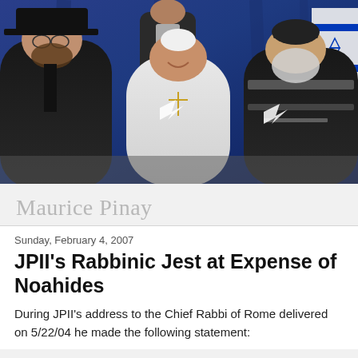[Figure (photo): Photograph of three religious figures seated together in front of a blue curtain and an Israeli flag. A man in black suit and black hat on the left, a figure in white papal vestments in the center smiling, and a rabbi in ornate robes on the right. A robed figure stands behind them holding papers.]
Maurice Pinay
Sunday, February 4, 2007
JPII's Rabbinic Jest at Expense of Noahides
During JPII's address to the Chief Rabbi of Rome delivered on 5/22/04 he made the following statement: